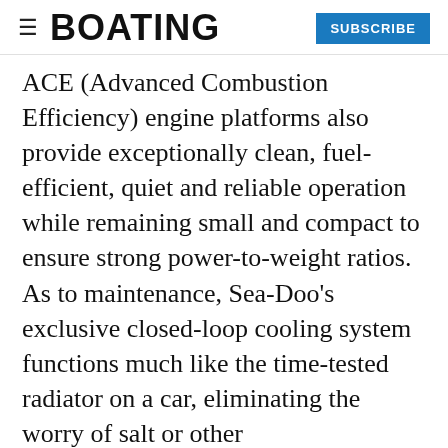≡  BOATING  SUBSCRIBE
ACE (Advanced Combustion Efficiency) engine platforms also provide exceptionally clean, fuel-efficient, quiet and reliable operation while remaining small and compact to ensure strong power-to-weight ratios. As to maintenance, Sea-Doo's exclusive closed-loop cooling system functions much like the time-tested radiator on a car, eliminating the worry of salt or other environmental contaminants.
Personal watercraft also satisfy a wide